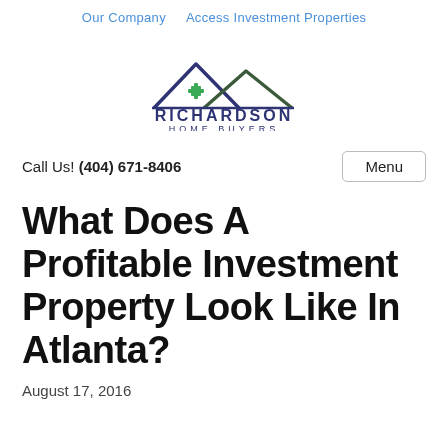Our Company   Access Investment Properties
[Figure (logo): Richardson Home Buyers logo with house/mountain outline in navy and green, company name in navy below]
Call Us! (404) 671-8406
What Does A Profitable Investment Property Look Like In Atlanta?
August 17, 2016